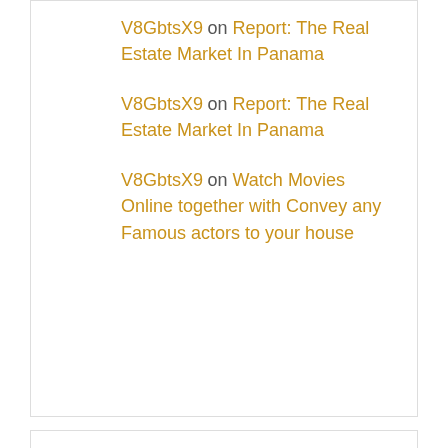V8GbtsX9 on Report: The Real Estate Market In Panama
V8GbtsX9 on Report: The Real Estate Market In Panama
V8GbtsX9 on Watch Movies Online together with Convey any Famous actors to your house
Archives
August 2022
July 2022
June 2022
May 2022
April 2022